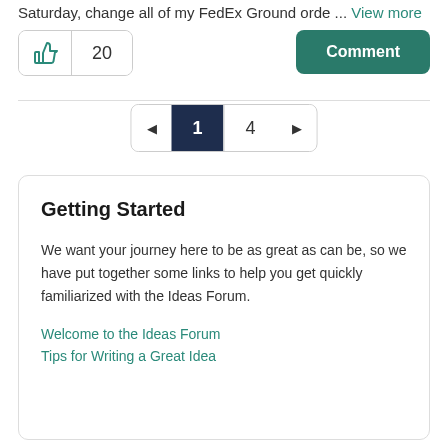Saturday, change all of my FedEx Ground orde ... View more
[Figure (screenshot): Like button showing thumbs up icon and count of 20, plus a green Comment button]
[Figure (screenshot): Pagination control showing back arrow, page 1 (active, dark), page 4, forward arrow]
Getting Started
We want your journey here to be as great as can be, so we have put together some links to help you get quickly familiarized with the Ideas Forum.
Welcome to the Ideas Forum
Tips for Writing a Great Idea